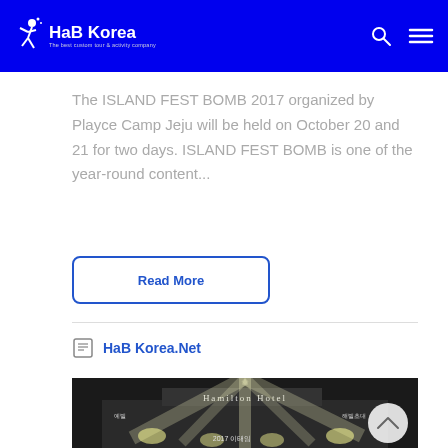HaB Korea — The best custom tour & activity company
The ISLAND FEST BOMB 2017 organized by Playce Camp Jeju will be held on October 20 and 21 for two days. ISLAND FEST BOMB is one of the year-round content...
Read More
HaB Korea.Net
[Figure (photo): Black and white night photo of Hamilton Hotel with stage lighting and spotlights, text '2017 이태임' visible at bottom]